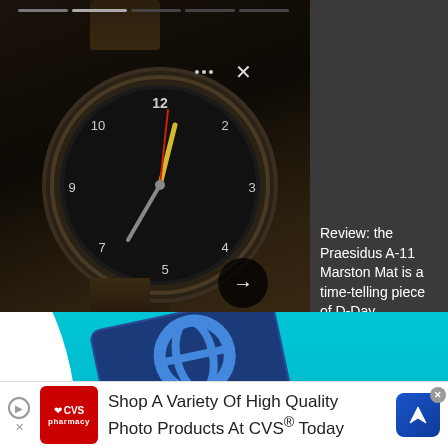[Figure (photo): Screenshot of a news article preview showing a military-style watch (Praesidus A-11 Marston Mat) on a brown leather strap against a dark background, with a headline panel to the right and a Navy Federal Credit Union advertisement below.]
Review: the Praesidus A-11 Marston Mat is a time-telling piece of D-Day
[Figure (advertisement): Navy Federal Credit Union advertisement with cyan background, blue credit card image, text 'MORE FUEL. MORE FOOD. MORE POINTS.' and 'Earn 3x points on gas, transit, groceries and restaurants.' with a LEARN MORE orange button.]
MORE FUEL. MORE FOOD. MORE POINTS.
Earn 3x points on gas, transit, groceries and restaurants.
SCROLL TO CONTINUE WITH CONTENT
[Figure (advertisement): CVS Pharmacy advertisement: red CVS logo on left, text 'Shop A Variety Of High Quality Photo Products At CVS® Today', navigation icon on right with close button.]
Shop A Variety Of High Quality Photo Products At CVS® Today